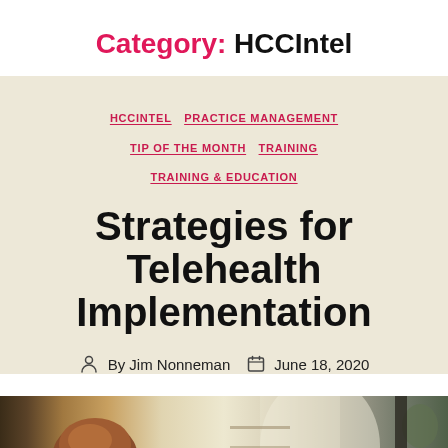Category: HCCIntel
HCCINTEL  PRACTICE MANAGEMENT  TIP OF THE MONTH  TRAINING  TRAINING & EDUCATION
Strategies for Telehealth Implementation
By Jim Nonneman  June 18, 2020
[Figure (photo): Photo of a person with reddish-brown hair seen from behind, sitting in a room with shelves and bright window light in the background]